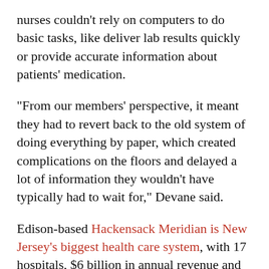nurses couldn't rely on computers to do basic tasks, like deliver lab results quickly or provide accurate information about patients' medication.
“From our members’ perspective, it meant they had to revert back to the old system of doing everything by paper, which created complications on the floors and delayed a lot of information they wouldn’t have typically had to wait for,” Devane said.
Edison-based Hackensack Meridian is New Jersey’s biggest health care system, with 17 hospitals, $6 billion in annual revenue and more than 35,000 employees. Locally, it owns Jersey Shore University Medical Center in Neptune; Riverview Medical Center in Red Bank; Bayshore Medical Center in Holmdel; Ocean Medical Center in Brick; and